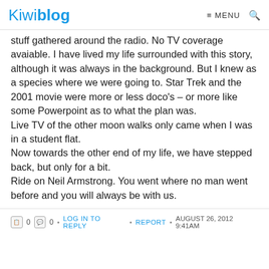Kiwiblog  ≡ MENU  🔍
stuff gathered around the radio. No TV coverage avaiable. I have lived my life surrounded with this story, although it was always in the background. But I knew as a species where we were going to. Star Trek and the 2001 movie were more or less doco's – or more like some Powerpoint as to what the plan was.
Live TV of the other moon walks only came when I was in a student flat.
Now towards the other end of my life, we have stepped back, but only for a bit.
Ride on Neil Armstrong. You went where no man went before and you will always be with us.
0  0  •  LOG IN TO REPLY  •  REPORT  •  AUGUST 26, 2012 9:41AM